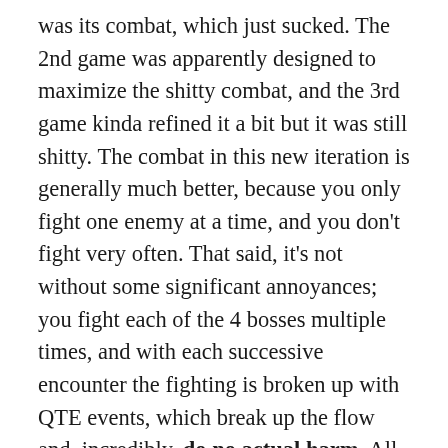was its combat, which just sucked. The 2nd game was apparently designed to maximize the shitty combat, and the 3rd game kinda refined it a bit but it was still shitty. The combat in this new iteration is generally much better, because you only fight one enemy at a time, and you don't fight very often. That said, it's not without some significant annoyances; you fight each of the 4 bosses multiple times, and with each successive encounter the fighting is broken up with QTE events, which break up the flow and, incredibly, do no actual harm. All that happens if you pass a QTE event is that you go back into combat. Furthermore, near the end of the game, each fight is basically 80% QTE, so your actual window to deal damage becomes